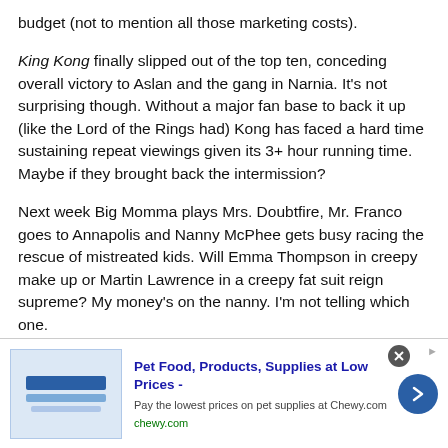budget (not to mention all those marketing costs).
King Kong finally slipped out of the top ten, conceding overall victory to Aslan and the gang in Narnia. It's not surprising though. Without a major fan base to back it up (like the Lord of the Rings had) Kong has faced a hard time sustaining repeat viewings given its 3+ hour running time. Maybe if they brought back the intermission?
Next week Big Momma plays Mrs. Doubtfire, Mr. Franco goes to Annapolis and Nanny McPhee gets busy racing the rescue of mistreated kids. Will Emma Thompson in creepy make up or Martin Lawrence in a creepy fat suit reign supreme? My money's on the nanny. I'm not telling which one.
[Figure (infographic): Advertisement banner for Chewy.com: Pet Food, Products, Supplies at Low Prices. Shows a blue product image block on the left, advertisement text in the center, and a blue circular arrow button on the right.]